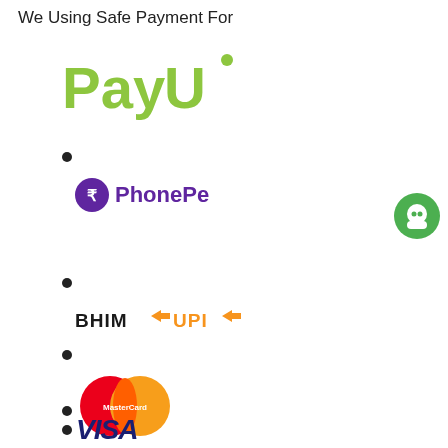We Using Safe Payment For
PayU (logo)
PhonePe (logo)
BHIM UPI (logo)
MasterCard (logo)
VISA (logo)
Paytm (logo)
JioMoney (logo)
Net Banking (logo)
[Figure (logo): Chat support icon - green circle with chat bubble]